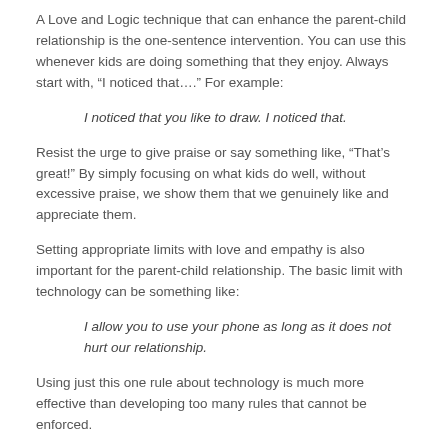A Love and Logic technique that can enhance the parent-child relationship is the one-sentence intervention. You can use this whenever kids are doing something that they enjoy. Always start with, “I noticed that….” For example:
I noticed that you like to draw. I noticed that.
Resist the urge to give praise or say something like, “That’s great!” By simply focusing on what kids do well, without excessive praise, we show them that we genuinely like and appreciate them.
Setting appropriate limits with love and empathy is also important for the parent-child relationship. The basic limit with technology can be something like:
I allow you to use your phone as long as it does not hurt our relationship.
Using just this one rule about technology is much more effective than developing too many rules that cannot be enforced.